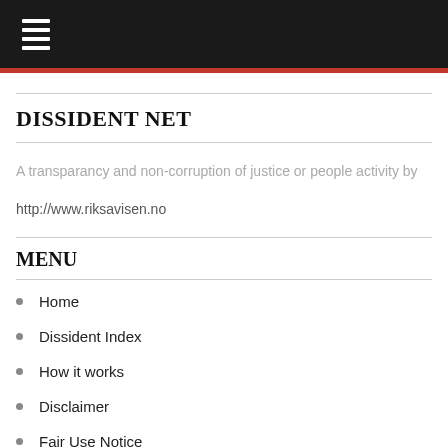DISSIDENT NET
A transparancy and non-corruption of justice or people activity by
http://www.riksavisen.no
MENU
Home
Dissident Index
How it works
Disclaimer
Fair Use Notice